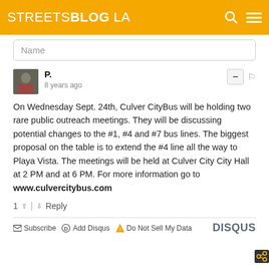STREETSBLOG LA
Name
P.
8 years ago
On Wednesday Sept. 24th, Culver CityBus will be holding two rare public outreach meetings. They will be discussing potential changes to the #1, #4 and #7 bus lines. The biggest proposal on the table is to extend the #4 line all the way to Playa Vista. The meetings will be held at Culver City City Hall at 2 PM and at 6 PM. For more information go to www.culvercitybus.com
1 ∧ | ∨  Reply
Subscribe  Add Disqus  Do Not Sell My Data  DISQUS